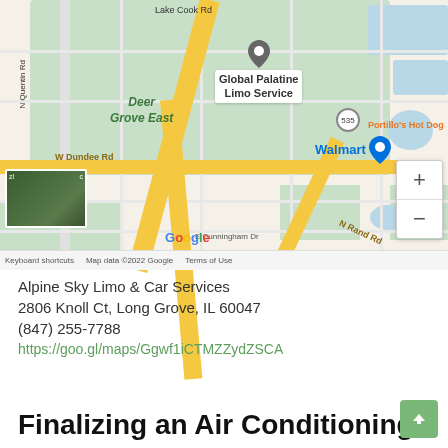[Figure (map): Google Maps screenshot showing area around Global Palatine Limo Service, near W Dundee Rd and N Rand Rd, Long Grove/Palatine, IL area. Shows Deer Grove East park, Walmart, Portillo's Hot Dog, Route 535. Map data ©2022 Google.]
Alpine Sky Limo & Car Services
2806 Knoll Ct, Long Grove, IL 60047
(847) 255-7788
https://goo.gl/maps/Ggwf1iCTMZZydZSCA
Finalizing an Air Conditioning